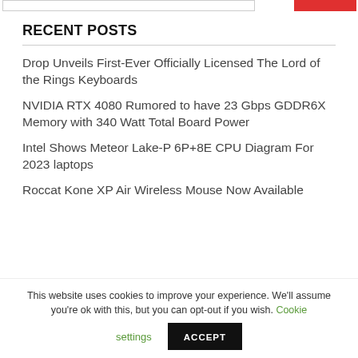RECENT POSTS
Drop Unveils First-Ever Officially Licensed The Lord of the Rings Keyboards
NVIDIA RTX 4080 Rumored to have 23 Gbps GDDR6X Memory with 340 Watt Total Board Power
Intel Shows Meteor Lake-P 6P+8E CPU Diagram For 2023 laptops
Roccat Kone XP Air Wireless Mouse Now Available
This website uses cookies to improve your experience. We'll assume you're ok with this, but you can opt-out if you wish. Cookie settings ACCEPT